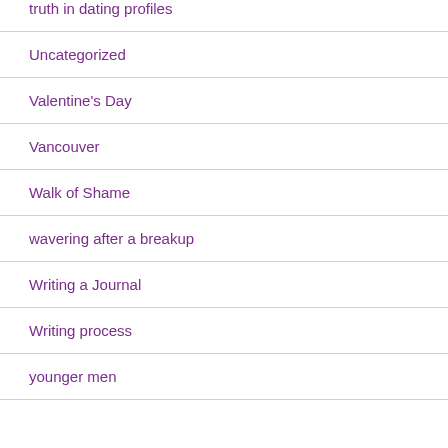truth in dating profiles
Uncategorized
Valentine's Day
Vancouver
Walk of Shame
wavering after a breakup
Writing a Journal
Writing process
younger men